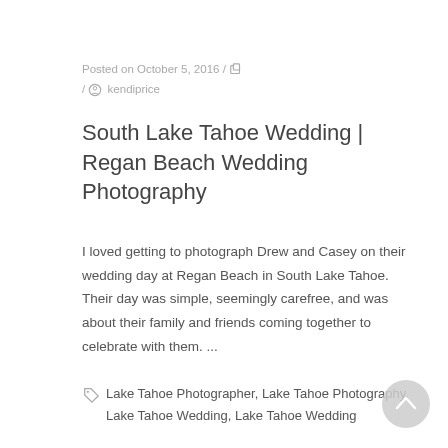Posted on October 5, 2016 / / kendiprice
South Lake Tahoe Wedding | Regan Beach Wedding Photography
I loved getting to photograph Drew and Casey on their wedding day at Regan Beach in South Lake Tahoe.  Their day was simple, seemingly carefree, and was about their family and friends coming together to celebrate with them. ...
Lake Tahoe Photographer, Lake Tahoe Photography, Lake Tahoe Wedding, Lake Tahoe Wedding